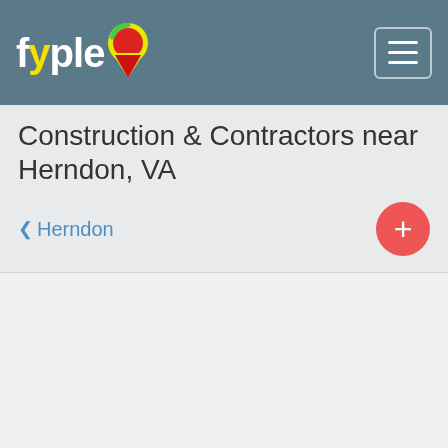[Figure (logo): Fyple logo with map pin icon in header navigation bar]
Construction & Contractors near Herndon, VA
◀ Herndon